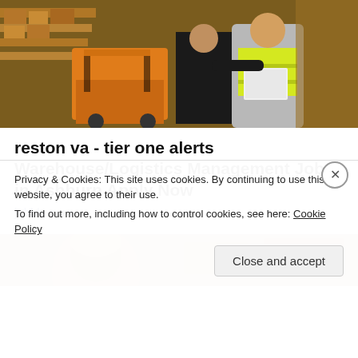[Figure (photo): Warehouse workers, one in a yellow safety vest holding a laptop, near an orange forklift with shelves of boxes in background]
reston va - tier one alerts Warehouse/Logistics Management Jobs in Ashburn Apply Now
jobble.com
[Figure (photo): Partial photo showing a person's head/face against a blurred warehouse background]
Privacy & Cookies: This site uses cookies. By continuing to use this website, you agree to their use.
To find out more, including how to control cookies, see here: Cookie Policy